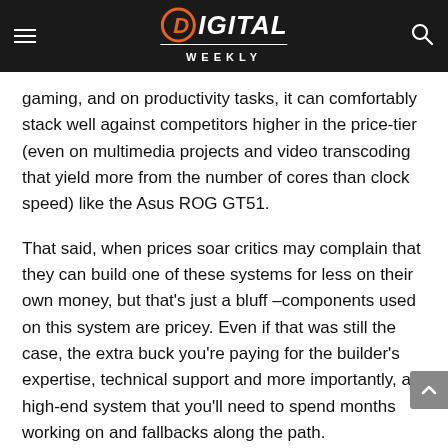Digital Weekly
gaming, and on productivity tasks, it can comfortably stack well against competitors higher in the price-tier (even on multimedia projects and video transcoding that yield more from the number of cores than clock speed) like the Asus ROG GT51.
That said, when prices soar critics may complain that they can build one of these systems for less on their own money, but that’s just a bluff –components used on this system are pricey. Even if that was still the case, the extra buck you’re paying for the builder’s expertise, technical support and more importantly, a high-end system that you’ll need to spend months working on and fallbacks along the path.
This CyberPower Gamer falls squarely into the high-end